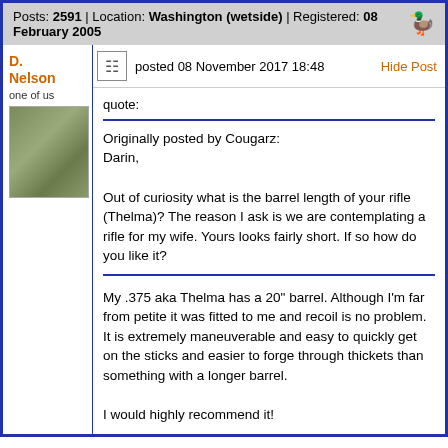Posts: 2591 | Location: Washington (wetside) | Registered: 08 February 2005
D. Nelson
one of us
posted 08 November 2017 18:48
Hide Post
quote:
Originally posted by Cougarz:
Darin,

Out of curiosity what is the barrel length of your rifle (Thelma)? The reason I ask is we are contemplating a rifle for my wife. Yours looks fairly short. If so how do you like it?
My .375 aka Thelma has a 20" barrel. Although I'm far from petite it was fitted to me and recoil is no problem. It is extremely maneuverable and easy to quickly get on the sticks and easier to forge through thickets than something with a longer barrel.

I would highly recommend it!

Best regards, Darin
Zambia 2017
Zambia 2016
Zimbabwe 2014